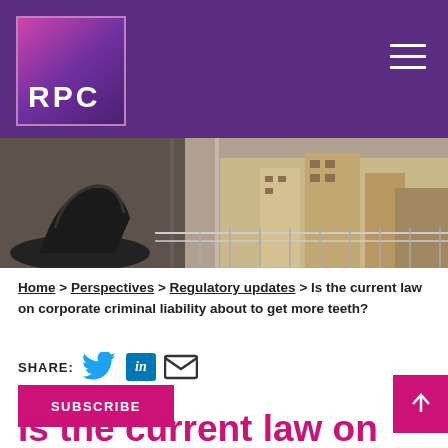[Figure (logo): RPC law firm logo — white RPC text on purple/magenta gradient square with border]
[Figure (photo): Office interior with modern chairs and floor-to-ceiling windows overlooking a historic city skyline]
Home > Perspectives > Regulatory updates > Is the current law on corporate criminal liability about to get more teeth?
SHARE:
Is the current law on